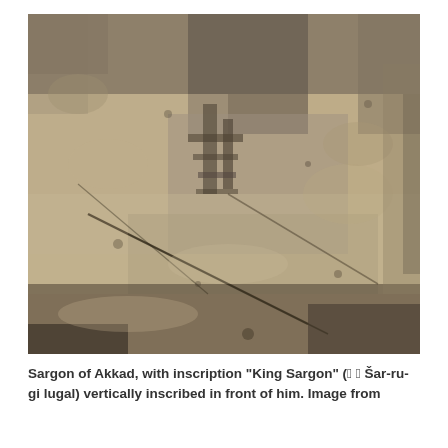[Figure (photo): Close-up photograph of an ancient stone carving or relief showing cuneiform inscription of Sargon of Akkad, carved into a rough stone surface with visible cracks and texture.]
Sargon of Akkad, with inscription "King Sargon" (𒈗 𒀭 Šar-ru-gi lugal) vertically inscribed in front of him. Image from